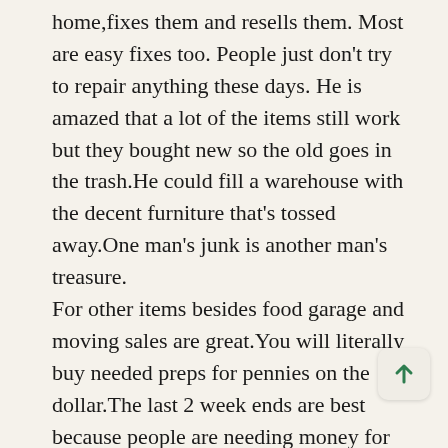home,fixes them and resells them. Most are easy fixes too. People just don't try to repair anything these days. He is amazed that a lot of the items still work but they bought new so the old goes in the trash.He could fill a warehouse with the decent furniture that's tossed away.One man's junk is another man's treasure.
For other items besides food garage and moving sales are great.You will literally buy needed preps for pennies on the dollar.The last 2 week ends are best because people are needing money for bills.plan hitting garage sales when you head to town for other supplies.Also after your local storm season people sell generators and equipment instead of keeping it for next year. New or slightly used equipment fo r or even less of the original price.